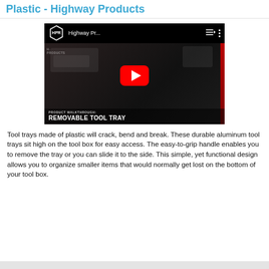Plastic - Highway Products
[Figure (screenshot): YouTube video thumbnail for Highway Products 'Product Walkthrough: Removable Tool Tray' video, showing tools in a truck bed tool box, with red YouTube play button overlay. HPR hexagon logo and video title 'Highway Pr...' visible in top bar.]
Tool trays made of plastic will crack, bend and break. These durable aluminum tool trays sit high on the tool box for easy access. The easy-to-grip handle enables you to remove the tray or you can slide it to the side. This simple, yet functional design allows you to organize smaller items that would normally get lost on the bottom of your tool box.